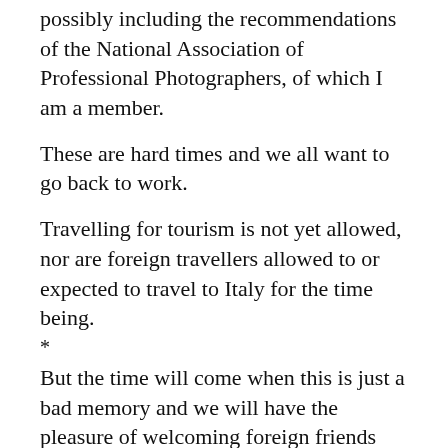possibly including the recommendations of the National Association of Professional Photographers, of which I am a member.
These are hard times and we all want to go back to work.
Travelling for tourism is not yet allowed, nor are foreign travellers allowed to or expected to travel to Italy for the time being.
*
But the time will come when this is just a bad memory and we will have the pleasure of welcoming foreign friends again.
*
Until that time, please keep safe and enjoy the little things in life. Spend time with your loved ones and dream..
*
Above all, make plans…